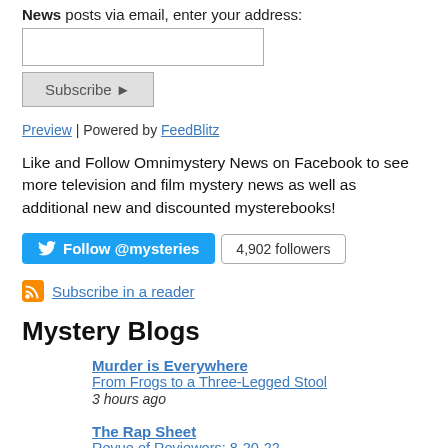News posts via email, enter your address:
[email input field]
Subscribe ►
Preview | Powered by FeedBlitz
Like and Follow Omnimystery News on Facebook to see more television and film mystery news as well as additional new and discounted mysterebooks!
[Figure (other): Twitter Follow @mysteries button with 4,902 followers badge]
Subscribe in a reader
Mystery Blogs
Murder is Everywhere
From Frogs to a Three-Legged Stool
3 hours ago
The Rap Sheet
Revue of Reviewers: 8-20-22